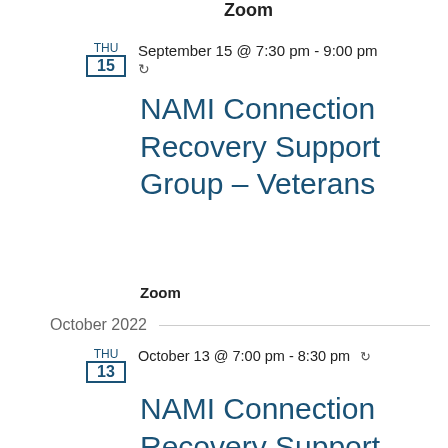Zoom
THU 15  September 15 @ 7:30 pm - 9:00 pm ↺
NAMI Connection Recovery Support Group – Veterans
Zoom
October 2022
THU 13  October 13 @ 7:00 pm - 8:30 pm ↺
NAMI Connection Recovery Support